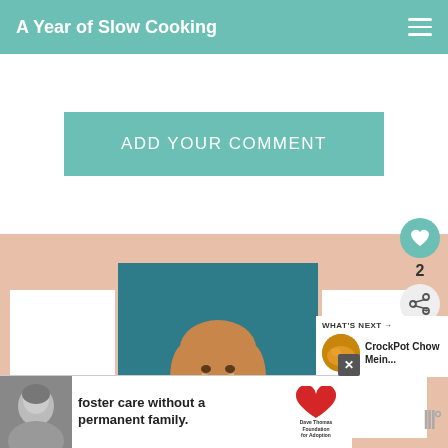A Year of Slow Cooking
ADD YOUR COMMENT
[Figure (photo): Woman smiling and holding a framed 'Make It Fast, Cook It Slow' book/document against a teal background]
WHAT'S NEXT → CrockPot Chow Mein...
foster care without a permanent family.
[Figure (logo): Dave Thomas Foundation for Adoption logo]